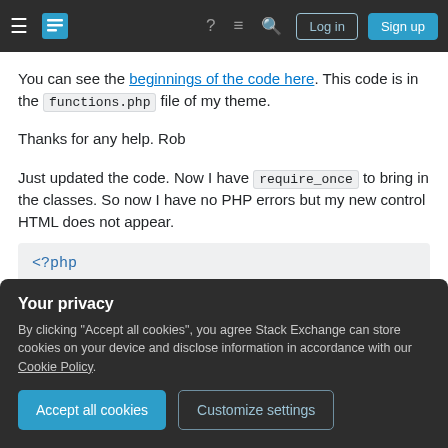Stack Exchange navigation bar with hamburger menu, logo, help icon, chat icon, search icon, Log in button, Sign up button
You can see the beginnings of the code here. This code is in the functions.php file of my theme.
Thanks for any help. Rob
Just updated the code. Now I have require_once to bring in the classes. So now I have no PHP errors but my new control HTML does not appear.
<?php
Your privacy
By clicking "Accept all cookies", you agree Stack Exchange can store cookies on your device and disclose information in accordance with our Cookie Policy.
Accept all cookies  Customize settings